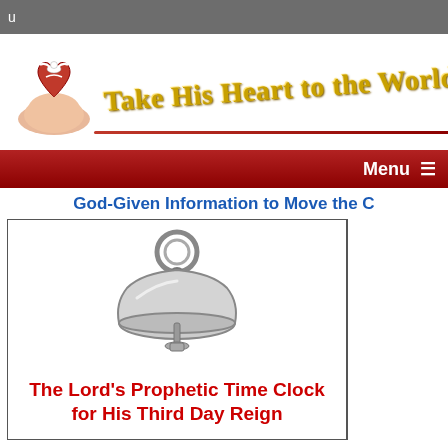u
[Figure (logo): Take His Heart to the World Ministries logo: hand holding a heart with a dove, with gold italic text 'Take His Heart to the World Min' and a red underline]
Menu ☰
God-Given Information to Move the C
[Figure (illustration): Antique pocket watch or bell draw illustration in black and white]
The Lord's Prophetic Time Clock for His Third Day Reign